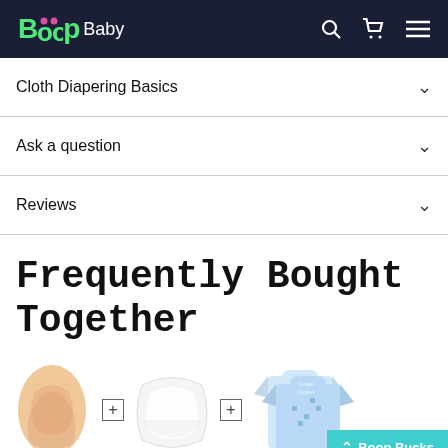Boop Baby
Cloth Diapering Basics
Ask a question
Reviews
Frequently Bought Together
[Figure (photo): Three products shown as frequently bought together: a beige cloth diaper, a white diaper cover, and blue patterned baby shirts]
Boop Bucks